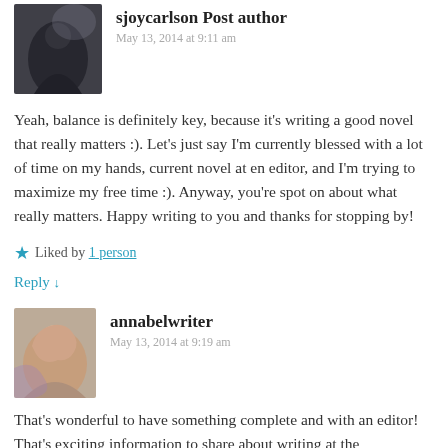[Figure (photo): Avatar photo of sjoycarlson — silhouette of person against cloudy sky]
sjoycarlson Post author
May 13, 2014 at 9:11 am
Yeah, balance is definitely key, because it's writing a good novel that really matters :). Let's just say I'm currently blessed with a lot of time on my hands, current novel at en editor, and I'm trying to maximize my free time :). Anyway, you're spot on about what really matters. Happy writing to you and thanks for stopping by!
Liked by 1 person
Reply ↓
[Figure (photo): Avatar photo of annabelwriter — woman with curly hair]
annabelwriter
May 13, 2014 at 9:19 am
That's wonderful to have something complete and with an editor! That's exciting information to share about writing at the convention...